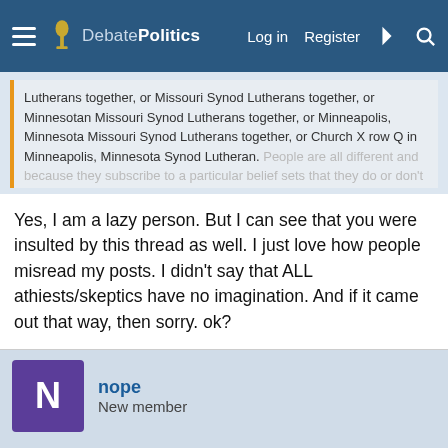DebatePolitics — Log in | Register
Lutherans together, or Missouri Synod Lutherans together, or Minnesotan Missouri Synod Lutherans together, or Minneapolis, Minnesota Missouri Synod Lutherans together, or Church X row Q in Minneapolis, Minnesota Synod Lutheran. People are all different and because they subscribe to... Click to expand...
Yes, I am a lazy person. But I can see that you were insulted by this thread as well. I just love how people misread my posts. I didn't say that ALL athiests/skeptics have no imagination. And if it came out that way, then sorry. ok?
nope
New member
This site uses cookies to help personalise content, tailor your experience and to keep you logged in if you register.
By continuing to use this site, you are consenting to our use of cookies.